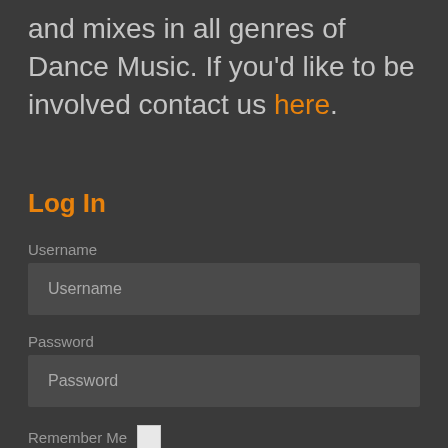and mixes in all genres of Dance Music. If you'd like to be involved contact us here.
Log In
Username
Username
Password
Password
Remember Me
LOG IN